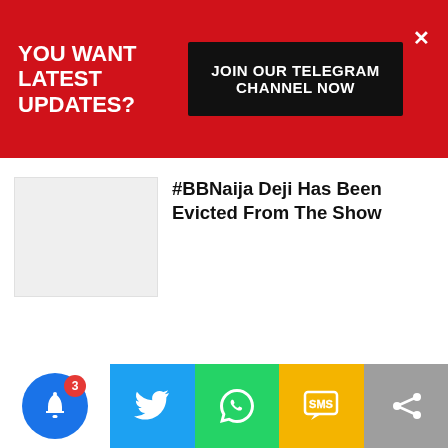YOU WANT LATEST UPDATES?
JOIN OUR TELEGRAM CHANNEL NOW
#BBNaija Deji Has Been Evicted From The Show
[Figure (photo): Thumbnail image placeholder (light gray rectangle)]